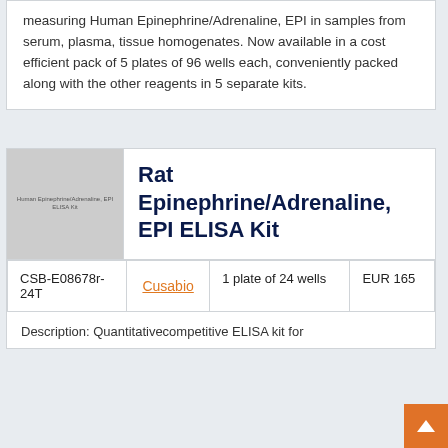measuring Human Epinephrine/Adrenaline, EPI in samples from serum, plasma, tissue homogenates. Now available in a cost efficient pack of 5 plates of 96 wells each, conveniently packed along with the other reagents in 5 separate kits.
[Figure (photo): Product image placeholder for Rat Epinephrine/Adrenaline EPI ELISA Kit - grey box with small text overlay]
Rat Epinephrine/Adrenaline, EPI ELISA Kit
|  |  |  |  |
| --- | --- | --- | --- |
| CSB-E08678r-24T | Cusabio | 1 plate of 24 wells | EUR 165 |
Description: Quantitative competitive ELISA kit for